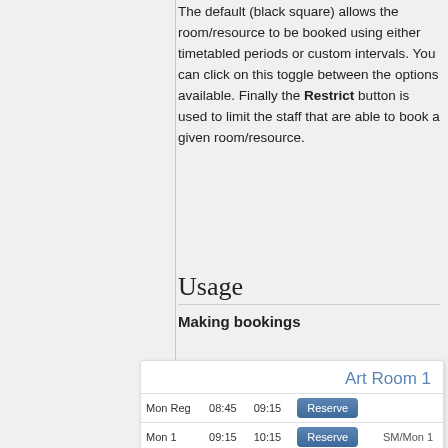The default (black square) allows the room/resource to be booked using either timetabled periods or custom intervals. You can click on this toggle between the options available. Finally the Restrict button is used to limit the staff that are able to book a given room/resource.
Usage
Making bookings
[Figure (screenshot): A booking table for Art Room 1 showing timetable slots: Mon Reg 08:45-09:15 with Reserve button; Mon 1 09:15-10:15 with Reserve button and SM/Mon 1; Mon 2 10:15-11:15 with Reserve button and SM/Mon 2; Mon 3 11:35-12:35 showing Williams, S Mrs and SM/Mon 3.]